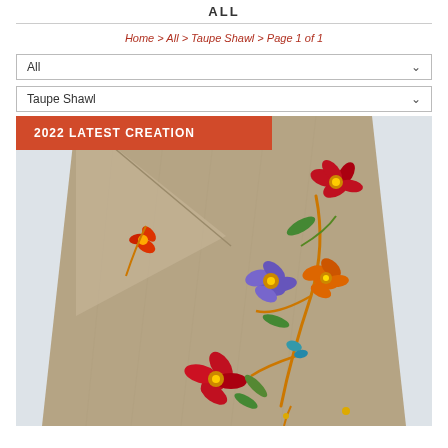ALL
Home > All > Taupe Shawl > Page 1 of 1
All
Taupe Shawl
[Figure (photo): A taupe/tan colored shawl with colorful floral embroidery featuring red, orange, purple/blue, and green flowers and stems. A red banner overlay reads '2022 LATEST CREATION'.]